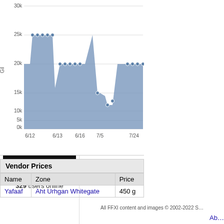BG Wiki
Discord
FFXIDB
FFXIVPro
Guildwork
Windower
Language: JP EN DE FR
New Items
2022-08-11
[Figure (logo): FFXIV Pro logo banner]
[Figure (logo): guildwork logo with colorful gear icon, 329 users online]
[Figure (area-chart): Gil price history]
Vendor Prices
| Name | Zone | Price |
| --- | --- | --- |
| Yafaaf | Aht Urhgan Whitegate | 450 |
All FFXI content and images © 2002-2022 S...
Ab...